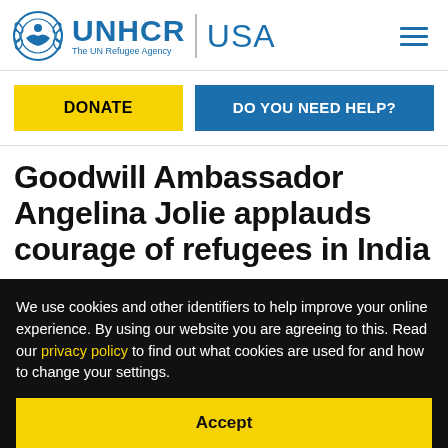UNHCR USA - The UN Refugee Agency
[Figure (logo): UNHCR logo with circular emblem and text 'UNHCR The UN Refugee Agency | USA' with hamburger menu icon]
DONATE
DO YOU NEED HELP?
Goodwill Ambassador Angelina Jolie applauds courage of refugees in India
On a weekend visit to meet refugees, civic
We use cookies and other identifiers to help improve your online experience. By using our website you are agreeing to this. Read our privacy policy to find out what cookies are used for and how to change your settings.
Accept